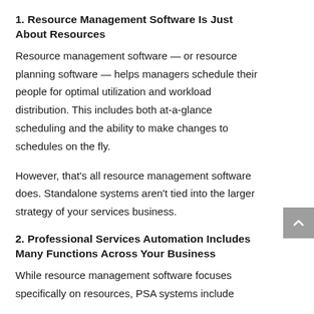1. Resource Management Software Is Just About Resources
Resource management software — or resource planning software — helps managers schedule their people for optimal utilization and workload distribution. This includes both at-a-glance scheduling and the ability to make changes to schedules on the fly.
However, that's all resource management software does. Standalone systems aren't tied into the larger strategy of your services business.
2. Professional Services Automation Includes Many Functions Across Your Business
While resource management software focuses specifically on resources, PSA systems include